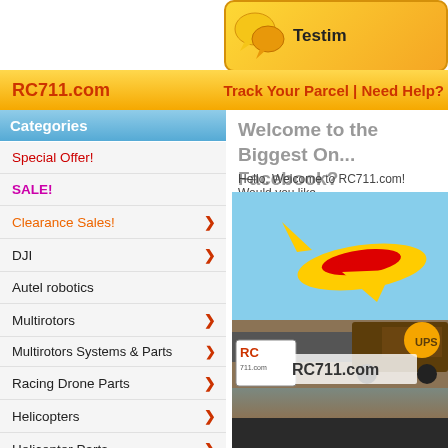[Figure (screenshot): Device icon top right area]
[Figure (screenshot): Chat bubble testimonials button with yellow/orange gradient background]
RC711.com    Track Your Parcel | Need Help?
Categories
Special Offer!
SALE!
Clearance Sales!
DJI
Autel robotics
Multirotors
Multirotors Systems & Parts
Racing Drone Parts
Helicopters
Helicopter Parts
Airplane Parts
Cars
Li-Po & Batteries
Welcome to the Biggest On... Facebook?
Hello, Welcome to RC711.com! Would you like
[Figure (photo): DHL airplane and UPS truck shipping image with RC711.com logo overlay]
[Figure (photo): Bottom dark banner]